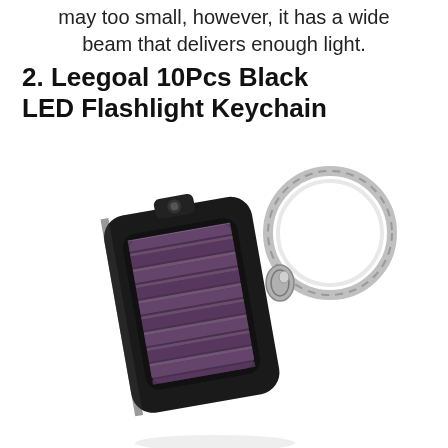may too small, however, it has a wide beam that delivers enough light.
2. Leegoal 10Pcs Black LED Flashlight Keychain
[Figure (photo): A black rectangular LED flashlight keychain with a solar panel (purple/pink striped panel) on the front face, attached to a silver metal key ring. The product is photographed at a slight angle against a white background.]